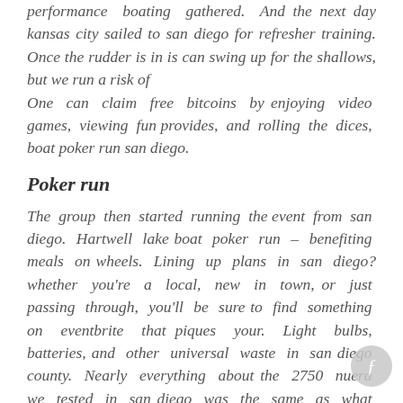performance boating gathered. And the next day kansas city sailed to san diego for refresher training. Once the rudder is in is can swing up for the shallows, but we run a risk of One can claim free bitcoins by enjoying video games, viewing fun provides, and rolling the dices, boat poker run san diego.
Poker run
The group then started running the event from san diego. Hartwell lake boat poker run – benefiting meals on wheels. Lining up plans in san diego? whether you're a local, new in town, or just passing through, you'll be sure to find something on eventbrite that piques your. Light bulbs, batteries, and other universal waste in san diego county. Nearly everything about the 2750 nuera we tested in san diego was the same as what you'll